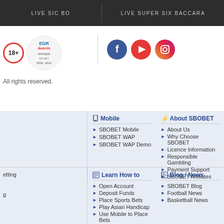LIVE SIC BO | LIVE SUPER SIX BACCARA
[Figure (logo): 18+ badge and EGR Awards Winner SBOBET 2009, 2010 badge]
[Figure (logo): Social media icons: Facebook, YouTube, Instagram]
All rights reserved.
Mobile
SBOBET Mobile
SBOBET WAP
SBOBET WAP Demo
About SBOBET
About Us
Why Choose SBOBET
Licence Information
Responsible Gambling
Payment Support
SBOBET Affiliates
Learn How to
Open Account
Deposit Funds
Place Sports Bets
Play Asian Handicap
Use Mobile to Place Bets
Blog / News
SBOBET Blog
Football News
Basketball News